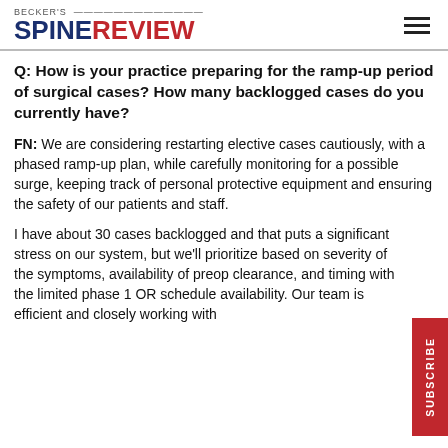BECKER'S SPINE REVIEW
Q: How is your practice preparing for the ramp-up period of surgical cases? How many backlogged cases do you currently have?
FN: We are considering restarting elective cases cautiously, with a phased ramp-up plan, while carefully monitoring for a possible surge, keeping track of personal protective equipment and ensuring the safety of our patients and staff.
I have about 30 cases backlogged and that puts a significant stress on our system, but we'll prioritize based on severity of the symptoms, availability of preop clearance, and timing with the limited phase 1 OR schedule availability. Our team is efficient and closely working with